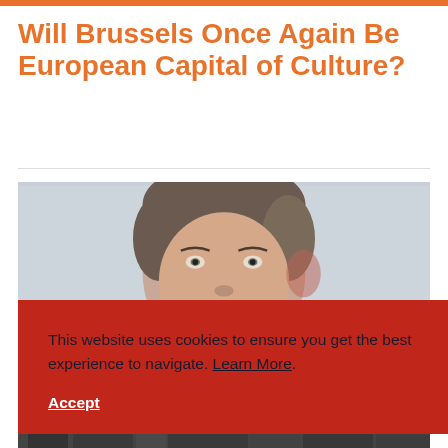Will Brussels Once Again Be European Capital of Culture?
[Figure (photo): Portrait photo of a young man smiling, close-up face shot against a light gray background]
This website uses cookies to ensure you get the best experience to navigate. Learn More. Accept